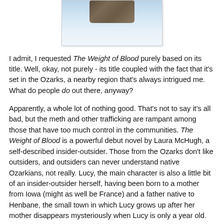[Figure (photo): A photograph of a book or wooden object resting on a surface, with a light blue-white gradient background suggesting a studio or sky setting.]
I admit, I requested The Weight of Blood purely based on its title. Well, okay, not purely - its title coupled with the fact that it's set in the Ozarks, a nearby region that's always intrigued me. What do people do out there, anyway?
Apparently, a whole lot of nothing good. That's not to say it's all bad, but the meth and other trafficking are rampant among those that have too much control in the communities. The Weight of Blood is a powerful debut novel by Laura McHugh, a self-described insider-outsider. Those from the Ozarks don't like outsiders, and outsiders can never understand native Ozarkians, not really. Lucy, the main character is also a little bit of an insider-outsider herself, having been born to a mother from Iowa (might as well be France) and a father native to Henbane, the small town in which Lucy grows up after her mother disappears mysteriously when Lucy is only a year old.